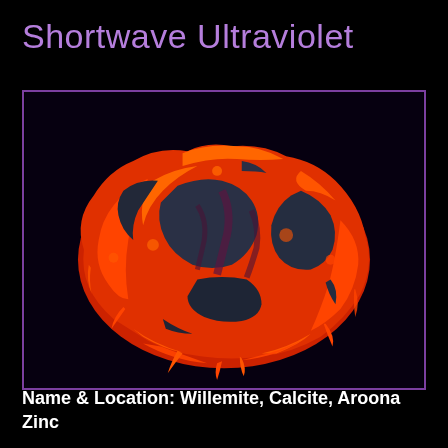Shortwave Ultraviolet
[Figure (photo): Photograph of a Willemite and Calcite mineral specimen from Aroona Zinc under shortwave ultraviolet light, glowing bright orange-red with dark grey-blue sections, on a black background, enclosed in a purple border.]
Name & Location: Willemite, Calcite, Aroona Zinc